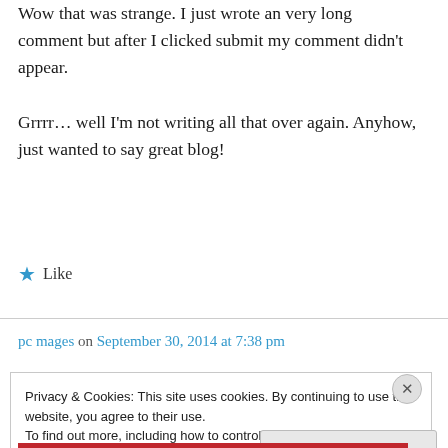Wow that was strange. I just wrote an very long comment but after I clicked submit my comment didn't appear.

Grrrr… well I'm not writing all that over again. Anyhow, just wanted to say great blog!
★ Like
pc mages on September 30, 2014 at 7:38 pm
Privacy & Cookies: This site uses cookies. By continuing to use this website, you agree to their use.
To find out more, including how to control cookies, see here: Cookie Policy
Close and accept